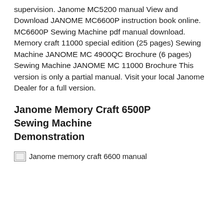supervision. Janome MC5200 manual View and Download JANOME MC6600P instruction book online. MC6600P Sewing Machine pdf manual download. Memory craft 11000 special edition (25 pages) Sewing Machine JANOME MC 4900QC Brochure (6 pages) Sewing Machine JANOME MC 11000 Brochure This version is only a partial manual. Visit your local Janome Dealer for a full version.
Janome Memory Craft 6500P Sewing Machine Demonstration
[Figure (other): Broken image placeholder with alt text 'Janome memory craft 6600 manual']